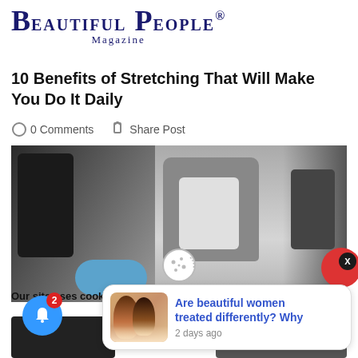BEAUTIFUL PEOPLE® Magazine
10 Benefits of Stretching That Will Make You Do It Daily
0 Comments   Share Post
[Figure (photo): Person stretching in a gym, wearing a grey jacket and white tank top, gym equipment visible in background]
November 11, 2019
Our site uses cooki
[Figure (illustration): Cookie icon illustration]
[Figure (photo): Two women posing together outdoors]
Are beautiful women treated differently? Why
2 days ago
2 (notification badge)